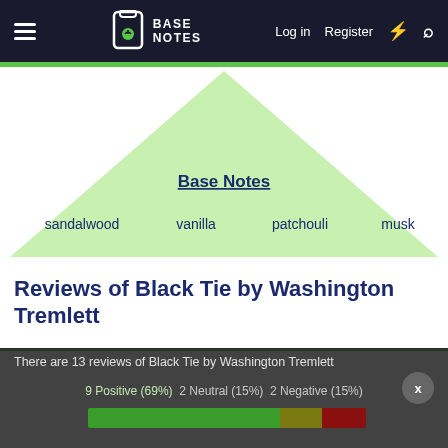Base Notes — Log in   Register
[Figure (infographic): Fragrance pyramid for Black Tie by Washington Tremlett showing base notes: sandalwood, vanilla, patchouli, musk]
Base Notes
sandalwood   vanilla   patchouli   musk
Reviews of Black Tie by Washington Tremlett
There are 13 reviews of Black Tie by Washington Tremlett
9 Positive (69%)   2 Neutral (15%)   2 Negative (15%)